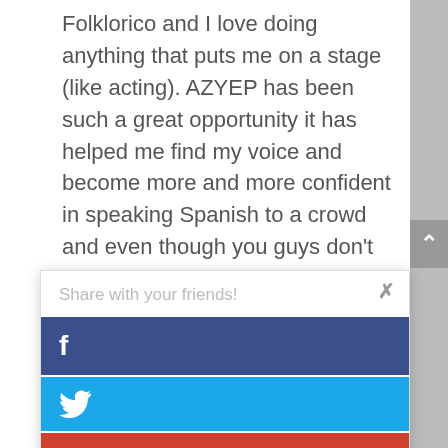Folklorico and I love doing anything that puts me on a stage (like acting). AZYEP has been such a great opportunity it has helped me find my voice and become more and more confident in speaking Spanish to a crowd and even though you guys don't see me or my girls when you guys listen to us playing music, just know that we are either dancing our butts off or singing our lungs out.
Share with your friends!
[Figure (infographic): Share dialog with Facebook (blue), Twitter (light blue), and Google+ (red) share buttons, and a close (×) button in the top right.]